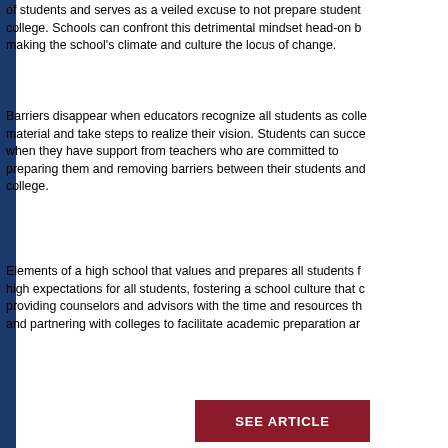of students and serves as a veiled excuse to not prepare students for college. Schools can confront this detrimental mindset head-on by making the school's climate and culture the locus of change.
Barriers disappear when educators recognize all students as college material and take steps to realize their vision. Students can succeed when they have support from teachers who are committed to preparing them and removing barriers between their students and college.
Elements of a high school that values and prepares all students for high expectations for all students, fostering a school culture that providing counselors and advisors with the time and resources that and partnering with colleges to facilitate academic preparation and
SEE ARTICLE
IDRA Names Dr. Cristóbal Rodríguez José A. Cárdenas School Finance Fe
Dr. Cristóbal Rodríguez will study inequities in access to coursework